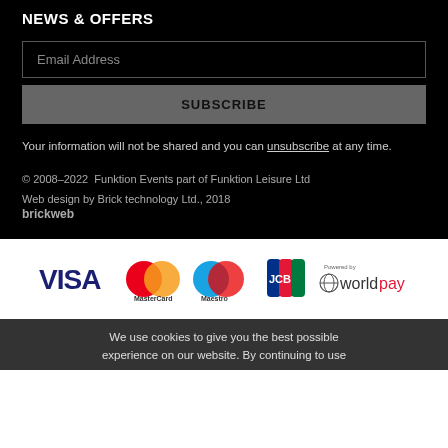NEWS & OFFERS
Email Address
SUBSCRIBE
Your information will not be shared and you can unsubscribe at any time.
© 2008–2022  Funktion Events part of Funktion Leisure Ltd
Web design by Brick technology Ltd., 2018
brickweb
[Figure (logo): Payment logos: VISA, MasterCard, Maestro, JCB, Powered by Worldpay]
We use cookies to give you the best possible experience on our website. By continuing to use